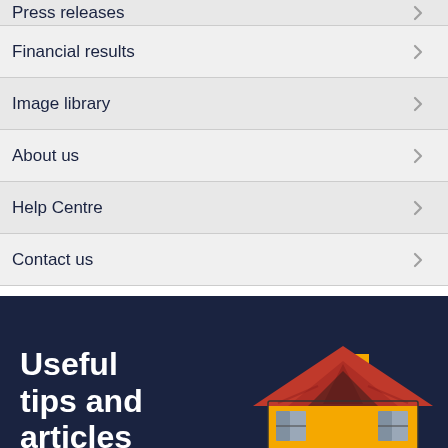Press releases
Financial results
Image library
About us
Help Centre
Contact us
[Figure (illustration): Dark navy blue promotional banner with bold white text reading 'Useful tips and articles' on the left, and a flat-style illustrated house with a red roof, yellow walls, and dark windows on the right.]